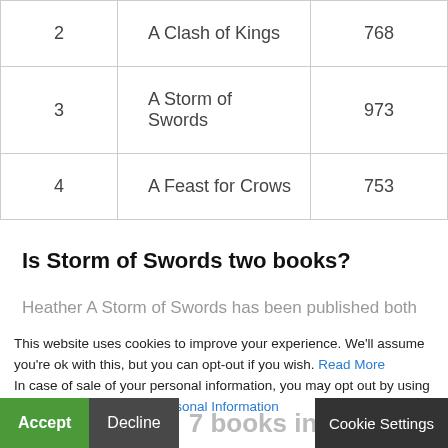| # | Title | Pages |
| --- | --- | --- |
| 2 | A Clash of Kings | 768 |
| 3 | A Storm of Swords | 973 |
| 4 | A Feast for Crows | 753 |
Is Storm of Swords two books?
Heather A Storm of Swords has been published both as one volume and in two parts. If it’s “A Storm of Swords: Steel and Snow” or “A Storm of Swords: Blood and Gold” then you have one half.
This website uses cookies to improve your experience. We’ll assume you’re ok with this, but you can opt-out if you wish. Read More
In case of sale of your personal information, you may opt out by using the link Do Not Sell My Personal Information
Are there 7 books in Game of Thrones?